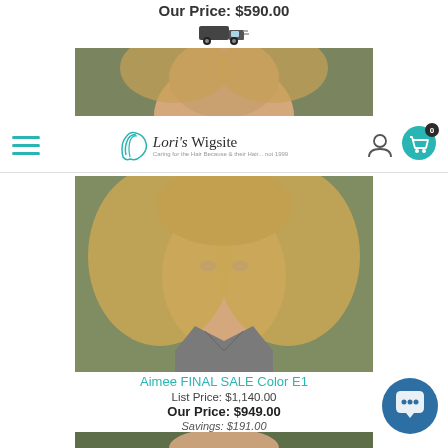Our Price: $590.00
[Figure (screenshot): Navigation bar with hamburger menu, Lori's Wigsite logo, user icon, and cart icon with badge showing 0]
[Figure (photo): Partial photo of a woman with blonde wavy hair wearing a grey halter top]
Aimee FINAL SALE Color E1
List Price: $1,140.00
Our Price: $949.00
Savings: $191.00
[Figure (photo): Photo of a woman with auburn/strawberry blonde wavy hair against an olive/dark green background]